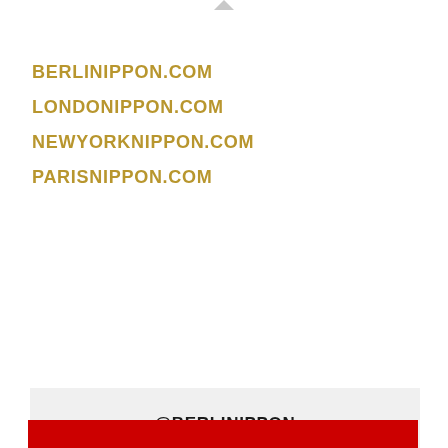BERLINIPPON.COM
LONDONIPPON.COM
NEWYORKNIPPON.COM
PARISNIPPON.COM
@BERLINIPPON
My Tweets
Privacy & Cookies: This site uses cookies. By continuing to use this website, you agree to their use.
To find out more, including how to control cookies, see here: Cookie Policy
Close and accept